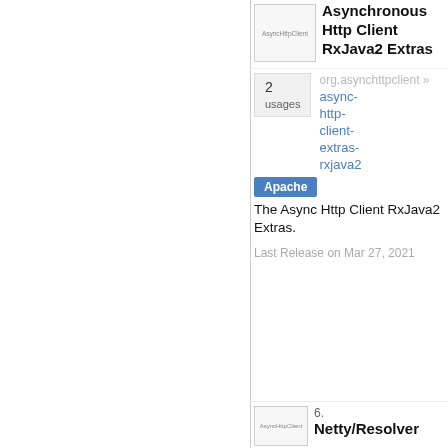[Figure (screenshot): AsyncHttpClient thumbnail icon]
Asynchronous Http Client RxJava2 Extras
2 usages
org.asynchttpclient »
async-http-client-extras-rxjava2
Apache
The Async Http Client RxJava2 Extras.
Last Release on Mar 27, 2021
[Figure (screenshot): AsyncHttpClient thumbnail icon for second entry]
6.
Netty/Resolver